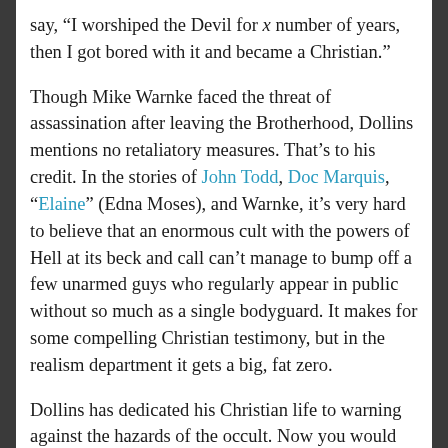say, “I worshiped the Devil for x number of years, then I got bored with it and became a Christian.”
Though Mike Warnke faced the threat of assassination after leaving the Brotherhood, Dollins mentions no retaliatory measures. That’s to his credit. In the stories of John Todd, Doc Marquis, “Elaine” (Edna Moses), and Warnke, it’s very hard to believe that an enormous cult with the powers of Hell at its beck and call can’t manage to bump off a few unarmed guys who regularly appear in public without so much as a single bodyguard. It makes for some compelling Christian testimony, but in the realism department it gets a big, fat zero.
Dollins has dedicated his Christian life to warning against the hazards of the occult. Now you would think by “occult”, I mean summoning Wolfman